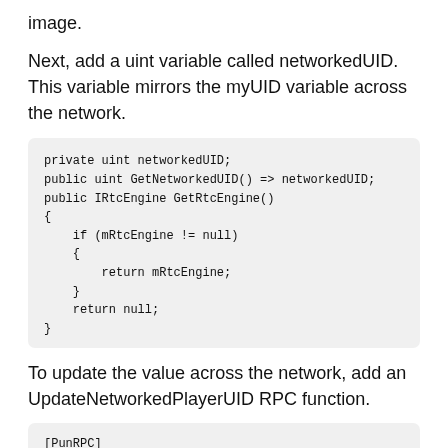image.
Next, add a uint variable called networkedUID. This variable mirrors the myUID variable across the network.
private uint networkedUID;
public uint GetNetworkedUID() =&gt; networkedUID;
public IRtcEngine GetRtcEngine()
{
    if (mRtcEngine != null)
    {
        return mRtcEngine;
    }
    return null;
}
To update the value across the network, add an UpdateNetworkedPlayerUID RPC function.
[PunRPC]
public void UpdateNetworkedPlayerUID(string newUID)